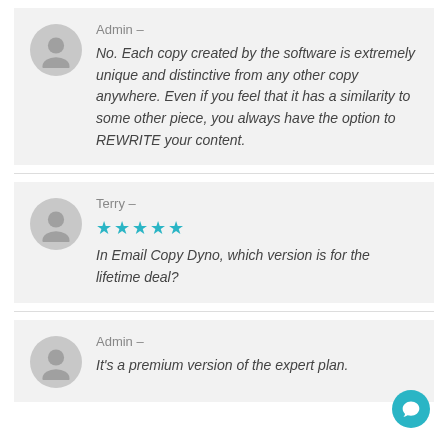Admin –
No. Each copy created by the software is extremely unique and distinctive from any other copy anywhere. Even if you feel that it has a similarity to some other piece, you always have the option to REWRITE your content.
Terry –
★★★★★
In Email Copy Dyno, which version is for the lifetime deal?
Admin –
It's a premium version of the expert plan.